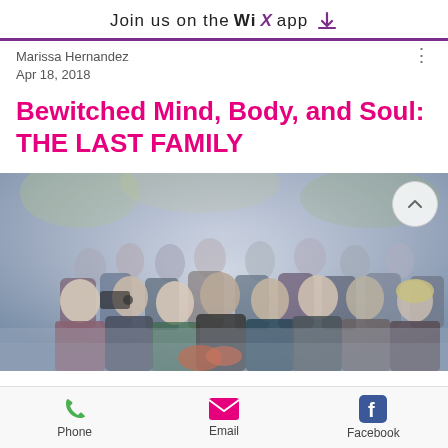Join us on the WiX app
Marissa Hernandez
Apr 18, 2018
Bewitched Mind, Body, and Soul: THE LAST FAMILY
[Figure (photo): A group of people gathered outdoors in a misty/foggy setting, appearing somber, likely a scene from the film The Last Family.]
Phone  Email  Facebook